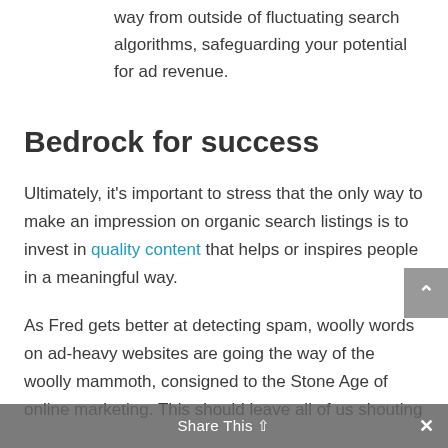way from outside of fluctuating search algorithms, safeguarding your potential for ad revenue.
Bedrock for success
Ultimately, it's important to stress that the only way to make an impression on organic search listings is to invest in quality content that helps or inspires people in a meaningful way.
As Fred gets better at detecting spam, woolly words on ad-heavy websites are going the way of the woolly mammoth, consigned to the Stone Age of online marketing. This should leave all of us shouting